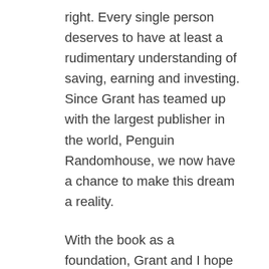right. Every single person deserves to have at least a rudimentary understanding of saving, earning and investing. Since Grant has teamed up with the largest publisher in the world, Penguin Randomhouse, we now have a chance to make this dream a reality.
With the book as a foundation, Grant and I hope to transform thousands of lives during the tour. Seeing us talk, explain, live, and breathe these financial ideas will hopefully leave an indelible mark on our audiences. As co-speakers, we highlight both ends of the